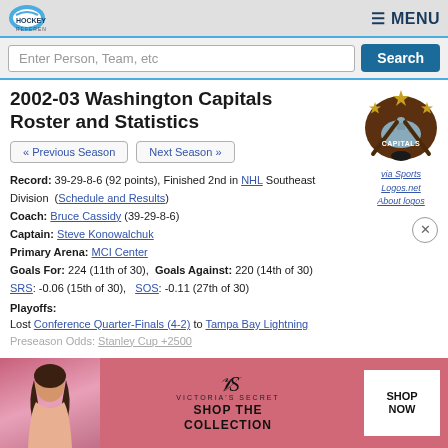Hockey Reference  ≡MENU
Enter Person, Team, etc  Search
2002-03 Washington Capitals Roster and Statistics
[Figure (logo): Washington Capitals team logo with crossed hockey sticks and stars]
via Sports Logos.net
About logos
« Previous Season
Next Season »
Record: 39-29-8-6 (92 points), Finished 2nd in NHL Southeast Division (Schedule and Results)
Coach: Bruce Cassidy (39-29-8-6)
Captain: Steve Konowalchuk
Primary Arena: MCI Center
Goals For: 224 (11th of 30),  Goals Against: 220 (14th of 30)
SRS: -0.06 (15th of 30),  SOS: -0.11 (27th of 30)
Playoffs:
Lost Conference Quarter-Finals (4-2) to Tampa Bay Lightning
Preseason Odds: Stanley Cup +2500
[Figure (photo): Victoria's Secret advertisement banner - Shop The Collection]